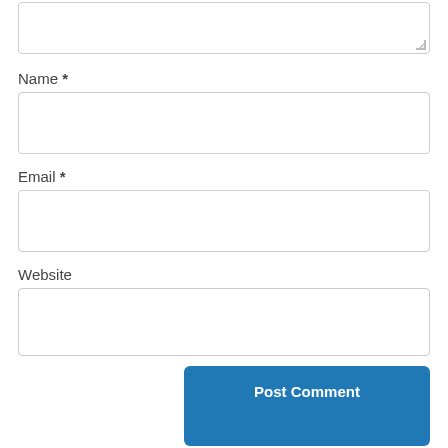[Figure (screenshot): Textarea input stub at top of page (partial, cut off)]
Name *
[Figure (screenshot): Name text input field]
Email *
[Figure (screenshot): Email text input field]
Website
[Figure (screenshot): Website text input field]
[Figure (screenshot): Post Comment button]
Notify me of new comments via email.